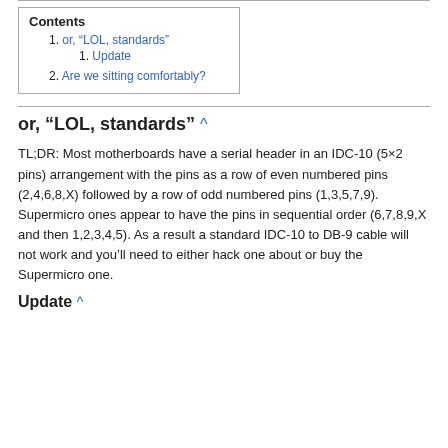| Contents |
| --- |
| 1. or, “LOL, standards” |
| 1. Update |
| 2. Are we sitting comfortably? |
or, “LOL, standards” ^
TL;DR: Most motherboards have a serial header in an IDC-10 (5×2 pins) arrangement with the pins as a row of even numbered pins (2,4,6,8,X) followed by a row of odd numbered pins (1,3,5,7,9). Supermicro ones appear to have the pins in sequential order (6,7,8,9,X and then 1,2,3,4,5). As a result a standard IDC-10 to DB-9 cable will not work and you’ll need to either hack one about or buy the Supermicro one.
Update ^